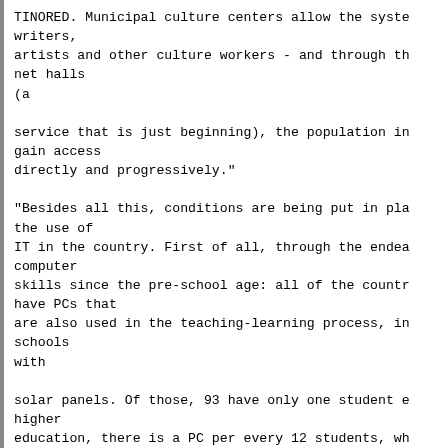TINORED. Municipal culture centers allow the syste
writers,
artists and other culture workers - and through th
net halls
(a

service that is just beginning), the population in
gain access
directly and progressively."

"Besides all this, conditions are being put in pla
the use of
IT in the country. First of all, through the endea
computer
skills since the pre-school age: all of the countr
have PCs that
are also used in the teaching-learning process, in
schools
with

solar panels. Of those, 93 have only one student e
higher
education, there is a PC per every 12 students, wh
technology on
a

large scale. The recently established Computer Sci